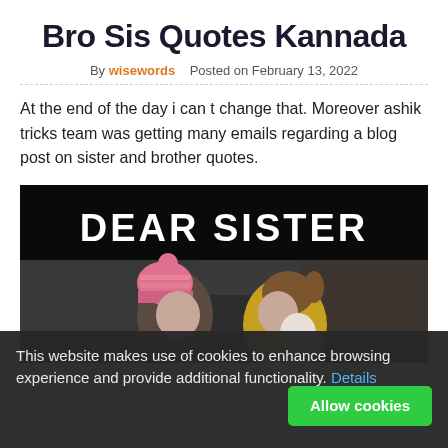Bro Sis Quotes Kannada
By wisewords   Posted on February 13, 2022
At the end of the day i can t change that. Moreover ashik tricks team was getting many emails regarding a blog post on sister and brother quotes.
[Figure (photo): Black background image with bold white text 'DEAR SISTER' at top, below which two young girls (one wearing a pink striped beanie hat, one with a ponytail in a yellow jacket) face each other closely, set against a dark moody outdoor background.]
This website makes use of cookies to enhance browsing experience and provide additional functionality. Details